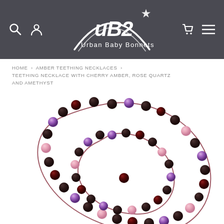[Figure (logo): Urban Baby Bonnets (UB2) logo — white hand-drawn style text and rainbow arc with star on dark grey header]
HOME > AMBER TEETHING NECKLACES > TEETHING NECKLACE WITH CHERRY AMBER, ROSE QUARTZ AND AMETHYST
[Figure (photo): A coiled amber teething necklace made of dark cherry amber beads, rose quartz beads, and purple amethyst beads strung on a dark red/maroon cord, arranged in a spiral on a white background.]